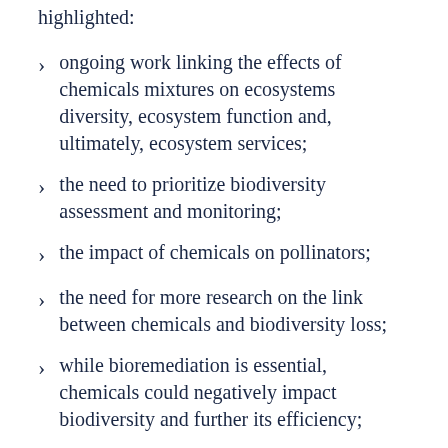highlighted:
ongoing work linking the effects of chemicals mixtures on ecosystems diversity, ecosystem function and, ultimately, ecosystem services;
the need to prioritize biodiversity assessment and monitoring;
the impact of chemicals on pollinators;
the need for more research on the link between chemicals and biodiversity loss;
while bioremediation is essential, chemicals could negatively impact biodiversity and further its efficiency;